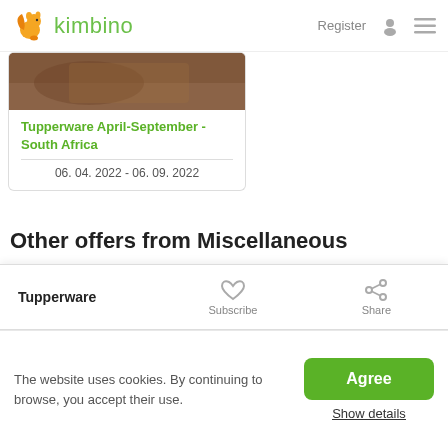kimbino — Register
[Figure (photo): Food photo thumbnail (top of card), partially visible]
Tupperware April-September - South Africa
06. 04. 2022 - 06. 09. 2022
Other offers from Miscellaneous
[Figure (logo): PEP store logo — yellow half-circle with blue bold italic PEP text]
[Figure (logo): EDGARS logo with red square]
[Figure (logo): Baby City logo in teal, partially visible]
Tupperware
Subscribe
Share
The website uses cookies. By continuing to browse, you accept their use.
Agree
Show details